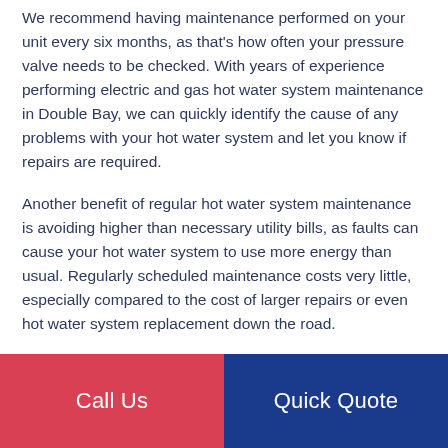We recommend having maintenance performed on your unit every six months, as that's how often your pressure valve needs to be checked. With years of experience performing electric and gas hot water system maintenance in Double Bay, we can quickly identify the cause of any problems with your hot water system and let you know if repairs are required.
Another benefit of regular hot water system maintenance is avoiding higher than necessary utility bills, as faults can cause your hot water system to use more energy than usual. Regularly scheduled maintenance costs very little, especially compared to the cost of larger repairs or even hot water system replacement down the road.
Because the team at Alliance is always looking out for you, when we perform hot water system maintenance for
Call Us | Quick Quote